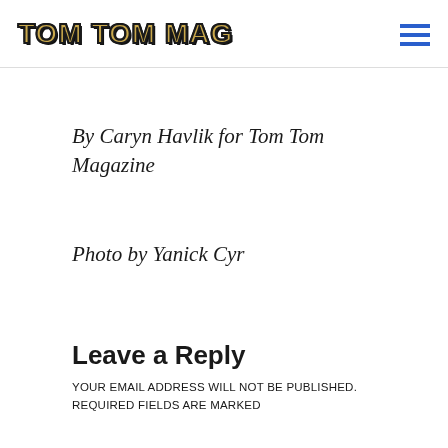TOM TOM MAG
By Caryn Havlik for Tom Tom Magazine
Photo by Yanick Cyr
Leave a Reply
YOUR EMAIL ADDRESS WILL NOT BE PUBLISHED. REQUIRED FIELDS ARE MARKED